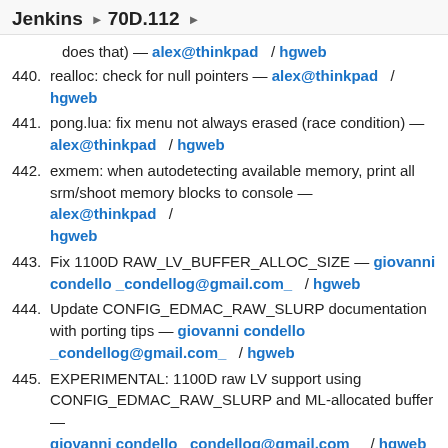Jenkins ▶ 70D.112 ▶
does that) — alex@thinkpad / hgweb
440. realloc: check for null pointers — alex@thinkpad / hgweb
441. pong.lua: fix menu not always erased (race condition) — alex@thinkpad / hgweb
442. exmem: when autodetecting available memory, print all srm/shoot memory blocks to console — alex@thinkpad / hgweb
443. Fix 1100D RAW_LV_BUFFER_ALLOC_SIZE — giovanni condello _condellog@gmail.com_ / hgweb
444. Update CONFIG_EDMAC_RAW_SLURP documentation with porting tips — giovanni condello _condellog@gmail.com_ / hgweb
445. EXPERIMENTAL: 1100D raw LV support using CONFIG_EDMAC_RAW_SLURP and ML-allocated buffer — giovanni condello _condellog@gmail.com_ / hgweb
446. Fix typo in macro names — giovanni condello _condellog@gmail.com_ / hgweb
447. raw.c : Allow the backend to allocate a buffer for RAW lv if